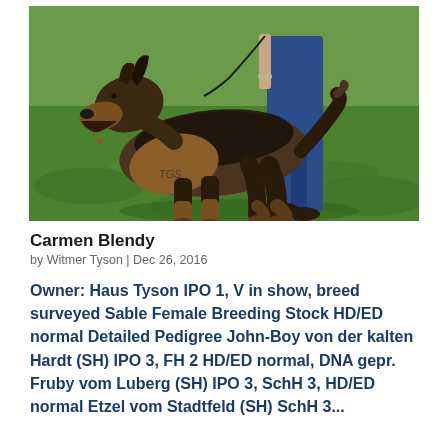[Figure (photo): A sable German Shepherd dog standing on green grass, facing left with mouth open. A person in blue jeans stands behind the dog. Watermark 'TGS' visible on the photo.]
Carmen Blendy
by Witmer Tyson | Dec 26, 2016
Owner: Haus Tyson IPO 1, V in show, breed surveyed Sable Female Breeding Stock HD/ED normal Detailed Pedigree John-Boy von der kalten Hardt (SH) IPO 3, FH 2 HD/ED normal, DNA gepr. Fruby vom Luberg (SH) IPO 3, SchH 3, HD/ED normal Etzel vom Stadtfeld (SH) SchH 3...